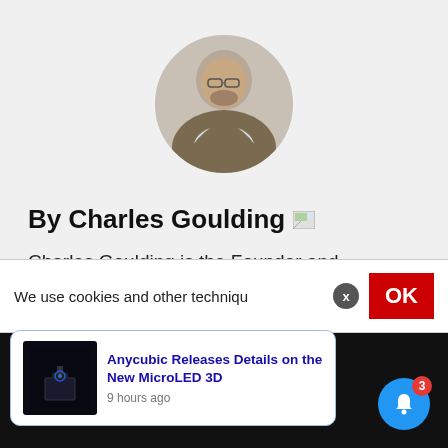[Figure (photo): Circular profile photo of Charles Goulding, a middle-aged man with glasses and a beard, wearing a suit jacket]
By Charles Goulding
Charles Goulding is the Founder and President of R&D Tax Savers, a New York-based firm dedicated to providing clients with quality R&D tax credits available to them. 3D printing carries
We use cookies and other techniqu
[Figure (screenshot): Notification popup showing 'Anycubic Releases Details on the New MicroLED 3D' posted 9 hours ago, with a dark thumbnail image of a 3D printer]